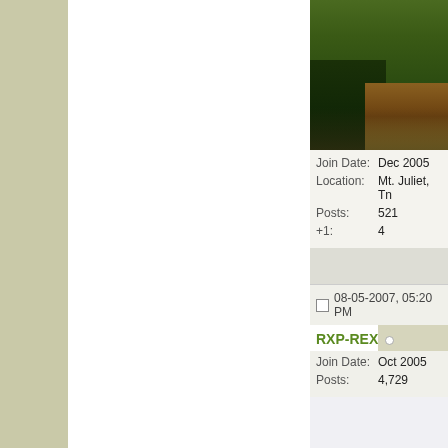[Figure (photo): Outdoor nature photo showing trees and landscape with a road or path, partially cropped at top]
Join Date: Dec 2005
Location: Mt. Juliet, Tn
Posts: 521
+1: 4
08-05-2007, 05:20 PM
RXP-REX
Join Date: Oct 2005
Posts: 4,729